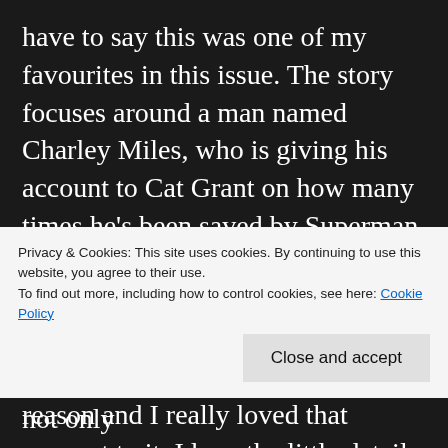have to say this was one of my favourites in this issue. The story focuses around a man named Charley Miles, who is giving his account to Cat Grant on how many times he's been saved by Superman. The tables then turned as he found himself saving Superman. This story focuses around the message of everything happening for a reason and I really loved that concept to it. I love the little details to this story, such as Superman taking the time out of his day to go to lunch with Charley and the fact that they now have a bit of a relationship because of their connection. It isn't
Privacy & Cookies: This site uses cookies. By continuing to use this website, you agree to their use.
To find out more, including how to control cookies, see here: Cookie Policy
Close and accept
Superman, that was so great to see not only